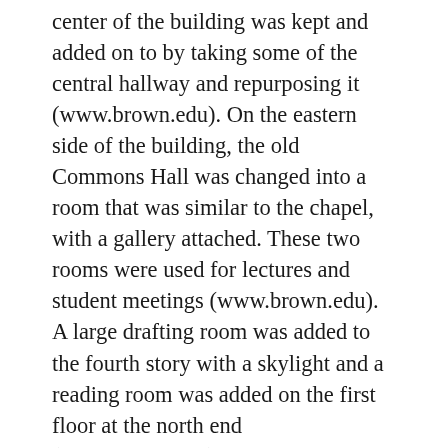center of the building was kept and added on to by taking some of the central hallway and repurposing it (www.brown.edu). On the eastern side of the building, the old Commons Hall was changed into a room that was similar to the chapel, with a gallery attached. These two rooms were used for lectures and student meetings (www.brown.edu). A large drafting room was added to the fourth story with a skylight and a reading room was added on the first floor at the north end (www.brown.edu). The apartment for the steward's family was moved outside the building and the building itself was heated with steam (www.brown.edu). The stucco that had been put on the exterior wall in 1834 was